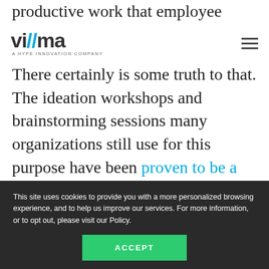productive work that employee could otherwise have done.
[Figure (logo): Viima - A HYPE INNOVATION COMPANY logo with stylized double-slash design in dark and blue colors]
There certainly is some truth to that. The ideation workshops and brainstorming sessions many organizations still use for this purpose have been proven to be a waste of time.
Most people don't have brilliant ideas every day or even month, and they certainly won't come up with the best ones on command
This site uses cookies to provide you with a more personalized browsing experience, and to help us improve our services. For more information, or to opt out, please visit our Policy.